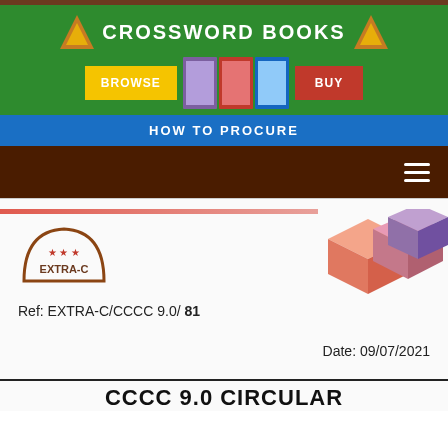[Figure (screenshot): Crossword Books banner with green background, logo, browse and buy buttons, book images, and HOW TO PROCURE blue bar]
[Figure (screenshot): Dark brown navigation bar with hamburger menu icon]
[Figure (logo): EXTRA-C star badge logo in circular shape with brown border]
[Figure (illustration): Abstract 3D geometric blocks in pink, salmon, and purple tones on right side]
Ref: EXTRA-C/CCCC 9.0/ 81
Date: 09/07/2021
CCCC 9.0 CIRCULAR